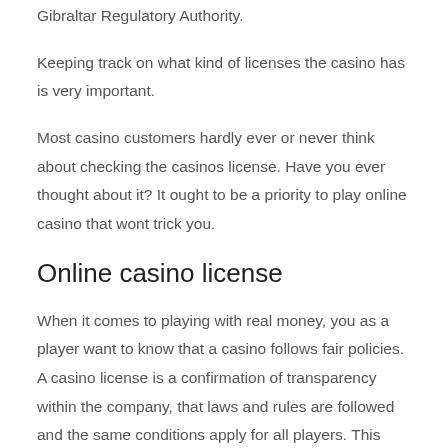Gibraltar Regulatory Authority.
Keeping track on what kind of licenses the casino has is very important.
Most casino customers hardly ever or never think about checking the casinos license. Have you ever thought about it? It ought to be a priority to play online casino that wont trick you.
Online casino license
When it comes to playing with real money, you as a player want to know that a casino follows fair policies. A casino license is a confirmation of transparency within the company, that laws and rules are followed and the same conditions apply for all players. This applies to casino bonuses and all rules and conditions that must be met by both casino and